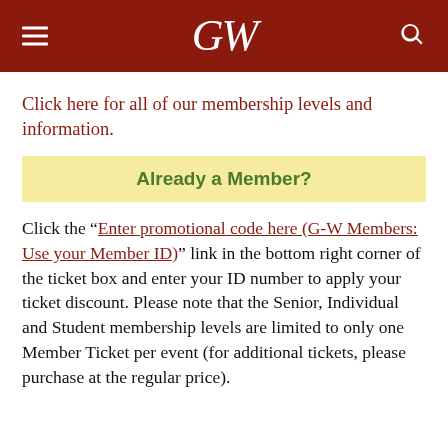GW
Click here for all of our membership levels and information.
Already a Member?
Click the “Enter promotional code here (G-W Members: Use your Member ID)” link in the bottom right corner of the ticket box and enter your ID number to apply your ticket discount. Please note that the Senior, Individual and Student membership levels are limited to only one Member Ticket per event (for additional tickets, please purchase at the regular price).